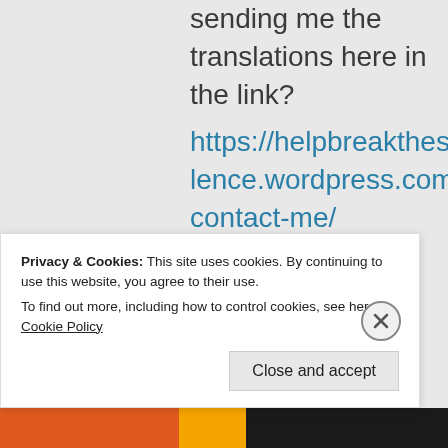sending me the translations here in the link? https://helpbreakthesilence.wordpress.com/contact-me/
★ Liked by 2 people
Privacy & Cookies: This site uses cookies. By continuing to use this website, you agree to their use.
To find out more, including how to control cookies, see here: Cookie Policy